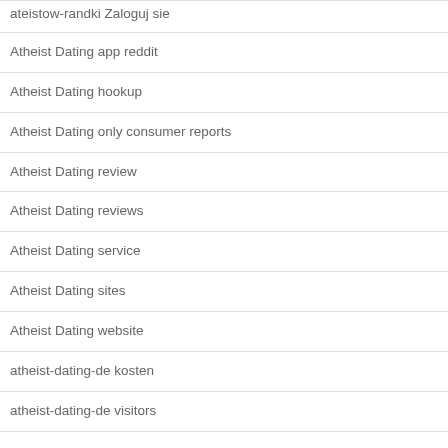ateistow-randki Zaloguj sie
Atheist Dating app reddit
Atheist Dating hookup
Atheist Dating only consumer reports
Atheist Dating review
Atheist Dating reviews
Atheist Dating service
Atheist Dating sites
Atheist Dating website
atheist-dating-de kosten
atheist-dating-de visitors